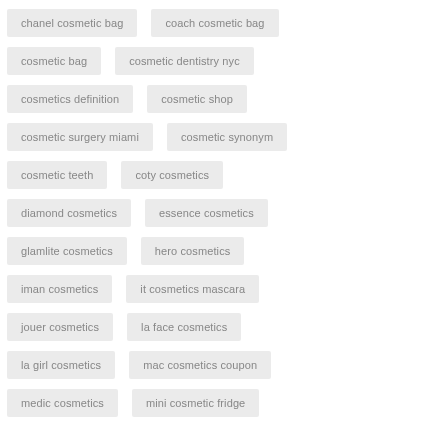chanel cosmetic bag
coach cosmetic bag
cosmetic bag
cosmetic dentistry nyc
cosmetics definition
cosmetic shop
cosmetic surgery miami
cosmetic synonym
cosmetic teeth
coty cosmetics
diamond cosmetics
essence cosmetics
glamlite cosmetics
hero cosmetics
iman cosmetics
it cosmetics mascara
jouer cosmetics
la face cosmetics
la girl cosmetics
mac cosmetics coupon
medic cosmetics
mini cosmetic fridge